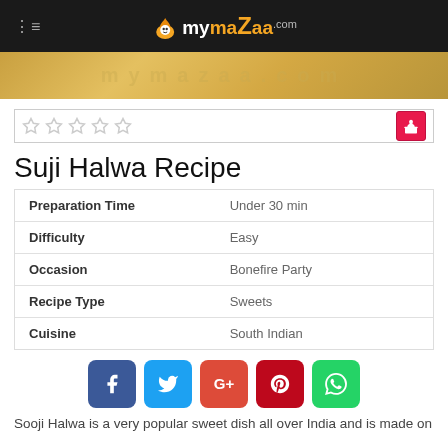mymazaa.com
[Figure (photo): Banner image with mymazaa.com watermark on golden/tan background]
[Figure (other): Five empty star rating icons with a cupcake/recipe icon on the right]
Suji Halwa Recipe
|  |  |
| --- | --- |
| Preparation Time | Under 30 min |
| Difficulty | Easy |
| Occasion | Bonefire Party |
| Recipe Type | Sweets |
| Cuisine | South Indian |
[Figure (infographic): Social media sharing buttons: Facebook, Twitter, Google+, Pinterest, WhatsApp]
Sooji Halwa is a very popular sweet dish all over India and is made on